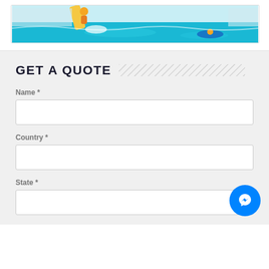[Figure (photo): Water park photo showing people on water slides and a blue pool with splash activity]
GET A QUOTE
Name *
Country *
State *